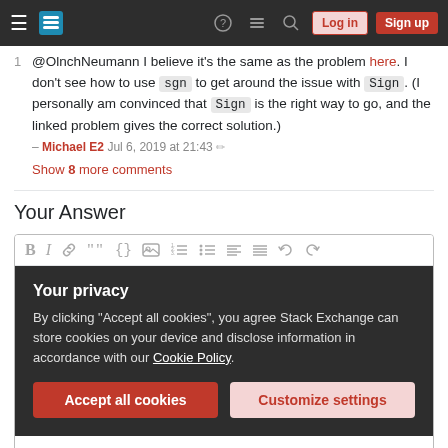Stack Exchange navigation bar with hamburger menu, logo, help, chat, search, Log in, Sign up
@OlnchNeumann I believe it's the same as the problem here. I don't see how to use sgn to get around the issue with Sign. (I personally am convinced that Sign is the right way to go, and the linked problem gives the correct solution.) – Michael E2 Jul 6, 2019 at 21:43
Show 8 more comments
Your Answer
[Figure (screenshot): Text editor toolbar with Bold, Italic, Link, Quote, Code, Image, Ordered list, Unordered list, alignment and undo/redo icons]
Your privacy
By clicking "Accept all cookies", you agree Stack Exchange can store cookies on your device and disclose information in accordance with our Cookie Policy.
Accept all cookies  Customize settings